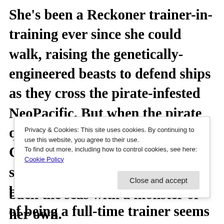She's been a Reckoner trainer-in-training ever since she could walk, raising the genetically-engineered beasts to defend ships as they cross the pirate-infested NeoPacific. But when the pirate queen Santa Elena swoops in on Cas's first solo mission and snatches her from the bloodstained decks, Cas's dream of being a full-time trainer seems dead in the water.
Privacy & Cookies: This site uses cookies. By continuing to use this website, you agree to their use. To find out more, including how to control cookies, see here: Cookie Policy
back the seas with a monster of her own.